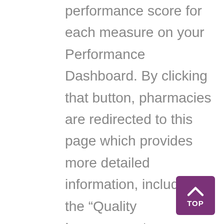performance score for each measure on your Performance Dashboard. By clicking that button, pharmacies are redirected to this page which provides more detailed information, including the “Quality Improvement Programs” table at the very bottom of the page! This table will indicate for the pharmacy how many patients they have in each payer program, their performance score and will provide a program goal and percentile. This is the best place for a pharmacy to look and understand performance for their performance contracts, as pay-for-